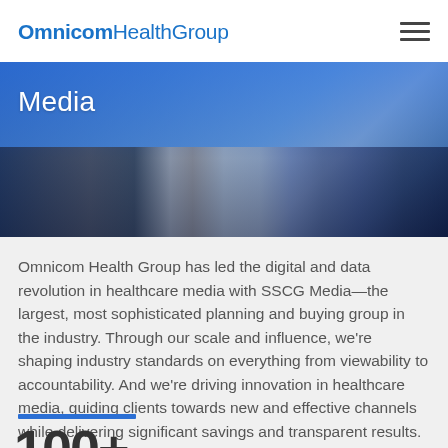OmnicomHealthGroup
[Figure (photo): Hero banner image showing Media heading over a blurred photo of desk with devices (tablet, phone, laptop) in blue-tinted overlay]
Media
Omnicom Health Group has led the digital and data revolution in healthcare media with SSCG Media—the largest, most sophisticated planning and buying group in the industry. Through our scale and influence, we're shaping industry standards on everything from viewability to accountability. And we're driving innovation in healthcare media, guiding clients towards new and effective channels while delivering significant savings and transparent results. That's why many clients today are choosing to consolidate all of their media planning and buying with us.
100+